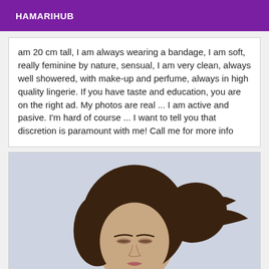HAMARIHUB
am 20 cm tall, I am always wearing a bandage, I am soft, really feminine by nature, sensual, I am very clean, always well showered, with make-up and perfume, always in high quality lingerie. If you have taste and education, you are on the right ad. My photos are real ... I am active and pasive. I'm hard of course ... I want to tell you that discretion is paramount with me! Call me for more info
[Figure (photo): Portrait photo of a young woman with dark brown wavy hair against a light blue/grey background, head tilted slightly down with eyes closed or nearly closed]